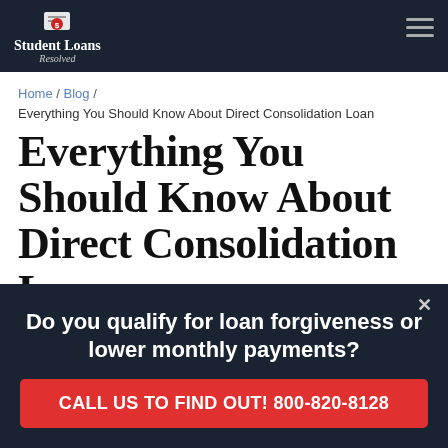Student Loans Resolved
Home / Blog /
Everything You Should Know About Direct Consolidation Loan
Everything You Should Know About Direct Consolidation Loan
Student Loans Resolved | Published: January 8th, 2022
[Figure (photo): Partial article header image with teal/mint color tones]
Do you qualify for loan forgiveness or lower monthly payments?
CALL US TO FIND OUT! 800-820-8128